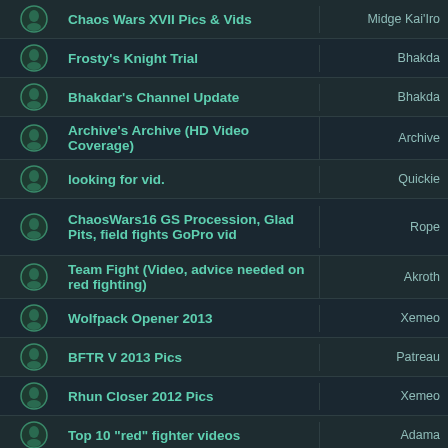Chaos Wars XVII Pics & Vids | Midge Kai'Iro
Frosty's Knight Trial | Bhakda
Bhakdar's Channel Update | Bhakda
Archive's Archive (HD Video Coverage) | Archive
looking for vid. | Quickie
ChaosWars16 GS Procession, Glad Pits, field fights GoPro vid | Rope
Team Fight (Video, advice needed on red fighting) | Akroth
Wolfpack Opener 2013 | Xemeo
BFTR V 2013 Pics | Patreau
Rhun Closer 2012 Pics | Xemeo
Top 10 "red" fighter videos | Adama
Babylong Repping Belegarth on local news | Huma
Bhakdar's Video Tutorials | Bhakda
Babylon sparring | Bhakda